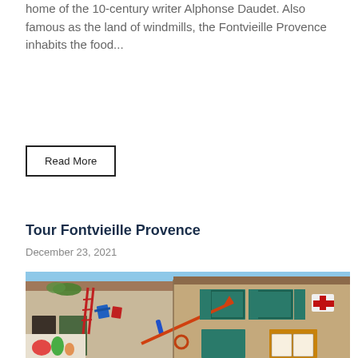home of the 10-century writer Alphonse Daudet. Also famous as the land of windmills, the Fontvieille Provence inhabits the food...
Read More
Tour Fontvieille Provence
December 23, 2021
[Figure (photo): Colorful facade of an old building in Fontvieille Provence, decorated with various colorful objects including chairs, ladders, and paintings. The building has green shutters and an orange-framed window with artwork displayed.]